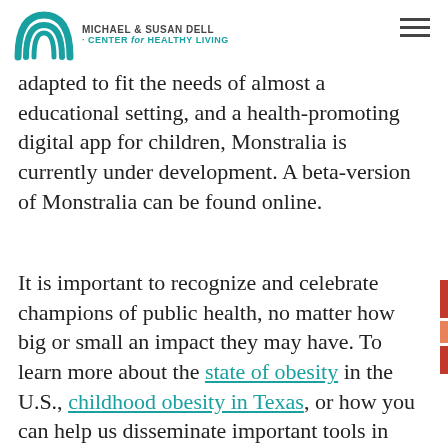MICHAEL & SUSAN DELL CENTER for HEALTHY LIVING
adapted to fit the needs of almost a educational setting, and a health-promoting digital app for children, Monstralia is currently under development. A beta-version of Monstralia can be found online.
It is important to recognize and celebrate champions of public health, no matter how big or small an impact they may have. To learn more about the state of obesity in the U.S., childhood obesity in Texas, or how you can help us disseminate important tools in the fight against obesity, follow the links provided.